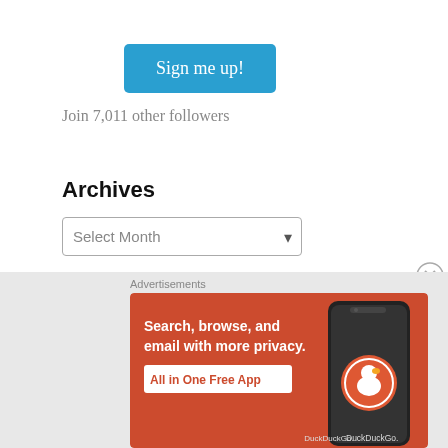Sign me up!
Join 7,011 other followers
Archives
Select Month
Search …
[Figure (screenshot): DuckDuckGo advertisement banner with orange background showing 'Search, browse, and email with more privacy. All in One Free App' with a phone graphic and DuckDuckGo logo.]
Advertisements